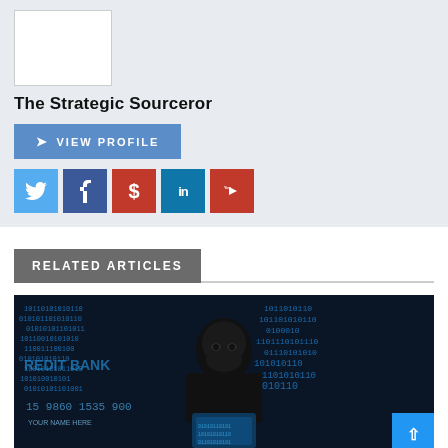[Figure (other): Profile placeholder image box (white rectangle with border)]
The Strategic Sourceror
[Figure (other): View Profile button with arrow icon in blue]
[Figure (other): Social media icon buttons: Twitter (blue bird), Facebook (blue f), Dollar sign (red), LinkedIn (teal in), YouTube (red play)]
RELATED ARTICLES
[Figure (photo): Photo of a masked hacker in black balaclava working on a laptop with binary code in background and credit card numbers visible]